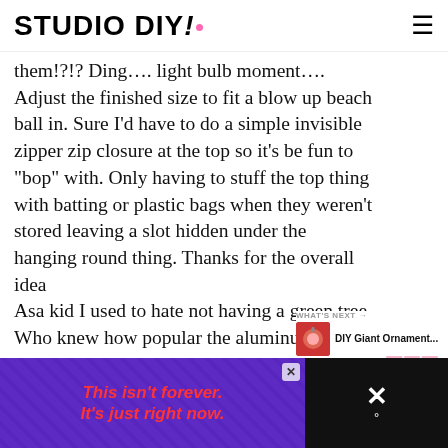STUDIO DIY!
them!?!? Ding…. light bulb moment…. Adjust the finished size to fit a blow up beach ball in. Sure I’d have to do a simple invisible zipper zip closure at the top so it’s be fun to “bop” with. Only having to stuff the top thing with batting or plastic bags when they weren’t stored leaving a slot hidden under the hanging round thing. Thanks for the overall idea
Asa kid I used to hate not having a green tree
Who knew how popular the aluminum trees were
Now it’s kind of pop culture to have one and quite expensive now.
[Figure (other): Heart/like button (pink circle with heart icon) with count 35, and share button below]
[Figure (other): What's Next promo: thumbnail of ornament with text 'DIY Giant Ornament...']
[Figure (other): Advertisement banner: purple background with diagonal lines, red italic text 'This isn’t forever. It’s just right now.' with X close button, and black right side with X and degree symbol]